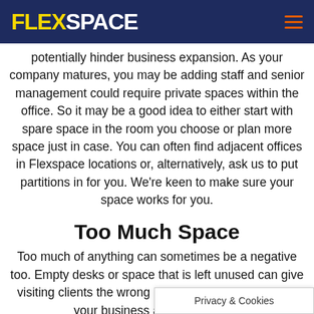FLEXSPACE
potentially hinder business expansion. As your company matures, you may be adding staff and senior management could require private spaces within the office. So it may be a good idea to either start with spare space in the room you choose or plan more space just in case. You can often find adjacent offices in Flexspace locations or, alternatively, ask us to put partitions in for you. We're keen to make sure your space works for you.
Too Much Space
Too much of anything can sometimes be a negative too. Empty desks or space that is left unused can give visiting clients the wrong impression with regards to your business and its success.
A...
Privacy & Cookies